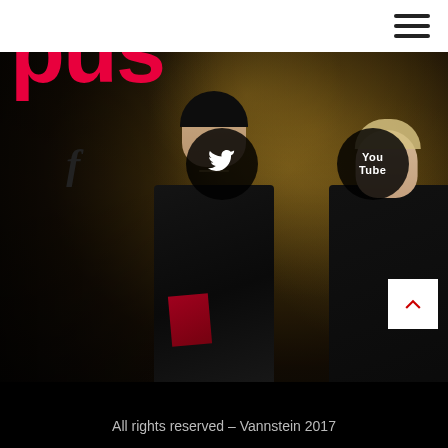...us
[Figure (photo): Two musicians standing in front of a dark gold-textured wall. Center figure wears a black leather jacket with a necklace; right figure has light hair and a sleeveless top. Three social media icons (Facebook, Twitter, YouTube) overlaid as dark circular buttons in the upper portion. A scroll-up arrow button is in the lower right.]
All rights reserved – Vannstein 2017